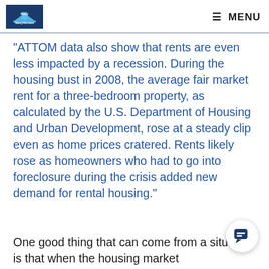NavyeNavyHomes  MENU
"ATTOM data also show that rents are even less impacted by a recession. During the housing bust in 2008, the average fair market rent for a three-bedroom property, as calculated by the U.S. Department of Housing and Urban Development, rose at a steady clip even as home prices cratered. Rents likely rose as homeowners who had to go into foreclosure during the crisis added new demand for rental housing."
One good thing that can come from a situation is that when the housing market